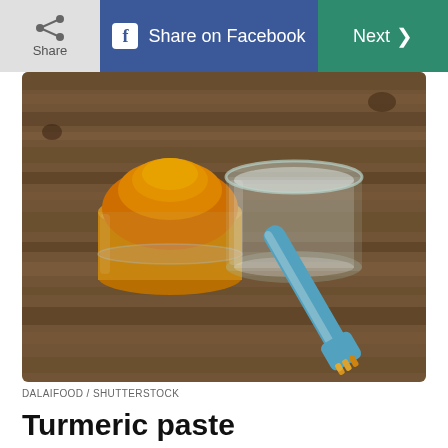Share | Share on Facebook | Next >
[Figure (photo): A glass jar filled with bright orange turmeric powder, an empty glass jar, and a blue toothbrush with orange turmeric on its bristles, all resting on a wooden surface.]
DALAIFOOD / SHUTTERSTOCK
Turmeric paste
This spice, typically used in curry dishes, is